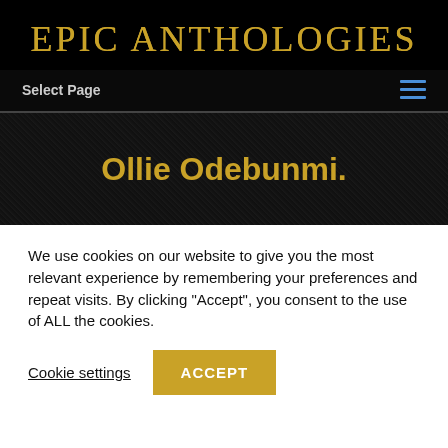EPIC ANTHOLOGIES
Select Page
Ollie Odebunmi.
We use cookies on our website to give you the most relevant experience by remembering your preferences and repeat visits. By clicking “Accept”, you consent to the use of ALL the cookies.
Cookie settings
ACCEPT